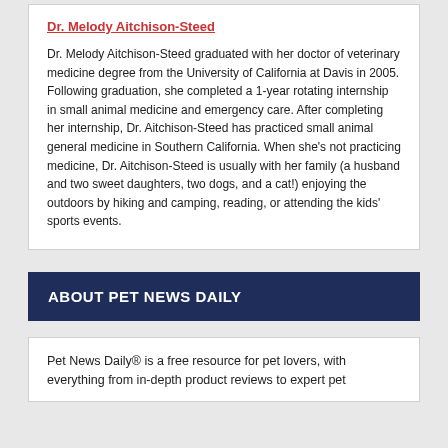Dr. Melody Aitchison-Steed
Dr. Melody Aitchison-Steed graduated with her doctor of veterinary medicine degree from the University of California at Davis in 2005. Following graduation, she completed a 1-year rotating internship in small animal medicine and emergency care. After completing her internship, Dr. Aitchison-Steed has practiced small animal general medicine in Southern California. When she's not practicing medicine, Dr. Aitchison-Steed is usually with her family (a husband and two sweet daughters, two dogs, and a cat!) enjoying the outdoors by hiking and camping, reading, or attending the kids' sports events.
ABOUT PET NEWS DAILY
Pet News Daily® is a free resource for pet lovers, with everything from in-depth product reviews to expert pet